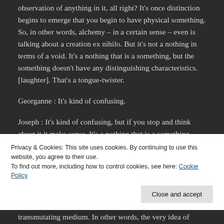observation of anything in it, all right? It's once distinction begins to emerge that you begin to have physical something. So, in other words, alchemy – in a certain sense – even is talking about a creation ex nihilo. But it's not a nothing in terms of a void. It's a nothing that is a something, but the something doesn't have any distinguishing characteristics. [laughter]. That's a tongue-twister.
Georganne : It's kind of confusing.
Joseph : It's kind of confusing, but if you stop and think about it it make sense. It's a nothing that is a something, without any distinguishing characteristics.
Privacy & Cookies: This site uses cookies. By continuing to use this website, you agree to their use. To find out more, including how to control cookies, see here: Cookie Policy
transmutating medium. In other words, the very idea of